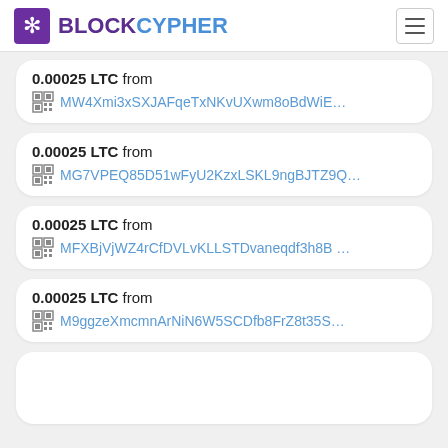BLOCKCYPHER
0.00025 LTC from MW4Xmi3xSXJAFqeTxNKvUXwm8oBdWiE...
0.00025 LTC from MG7VPEQ85D51wFyU2KzxLSKL9ngBJTZ9Q...
0.00025 LTC from MFXBjVjWZ4rCfDVLvKLLSTDvaneqdf3h8B ...
0.00025 LTC from M9ggzeXmcmnArNiN6W5SCDfb8FrZ8t35S...